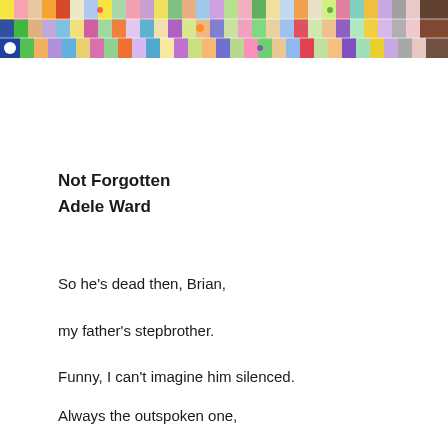[Figure (illustration): A colorful patchwork banner/header image composed of many small square tiles with various patterns, colors, and designs — resembling a quilt or mosaic. A small icon with a figure appears at the bottom left corner.]
Not Forgotten
Adele Ward
So he's dead then, Brian,
my father's stepbrother.
Funny, I can't imagine him silenced.

Always the outspoken one,
the joker in the pack
of children, abused
as only a parent or lover knows how.